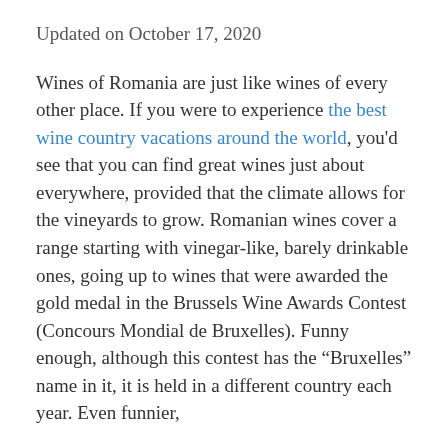Updated on October 17, 2020
Wines of Romania are just like wines of every other place. If you were to experience the best wine country vacations around the world, you'd see that you can find great wines just about everywhere, provided that the climate allows for the vineyards to grow. Romanian wines cover a range starting with vinegar-like, barely drinkable ones, going up to wines that were awarded the gold medal in the Brussels Wine Awards Contest (Concours Mondial de Bruxelles). Funny enough, although this contest has the “Bruxelles” name in it, it is held in a different country each year. Even funnier,